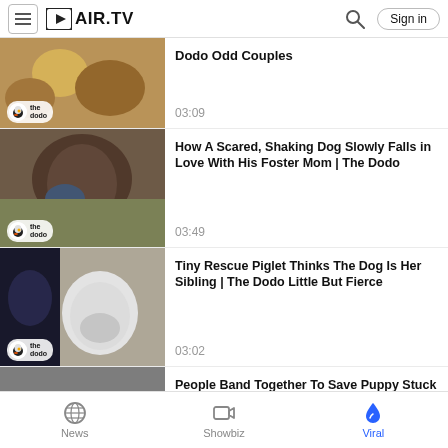AIR.TV — Sign in
Dodo Odd Couples
03:09
How A Scared, Shaking Dog Slowly Falls in Love With His Foster Mom | The Dodo
03:49
Tiny Rescue Piglet Thinks The Dog Is Her Sibling | The Dodo Little But Fierce
03:02
People Band Together To Save Puppy Stuck In Tire | The Dodo
03:09
News  Showbiz  Viral